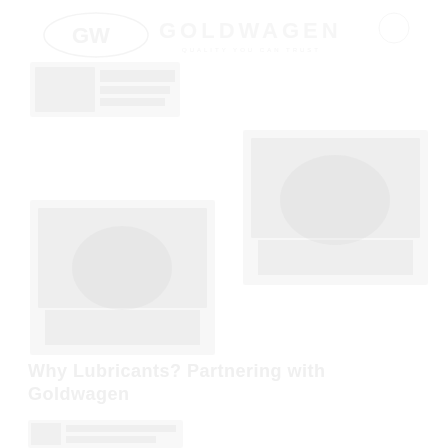[Figure (logo): Goldwagen logo with GW emblem and text 'GOLDWAGEN' with tagline]
[Figure (photo): Small rectangular image top left, appears to be a product or vehicle part image, very faint]
[Figure (photo): Large image on the right side showing automotive-related content, very faint]
[Figure (photo): Large image on the bottom left showing automotive-related content, very faint]
Why Lubricants? Partnering with Goldwagen
[Figure (photo): Small image at bottom left, very faint, appears to be a product image]